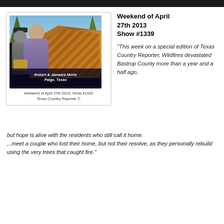[Figure (screenshot): TV screenshot showing Robert & Jamaica Mortz from Paige, Texas, with a partially built wooden structure and burned trees in the background. Caption bar reads 'Robert & Jamaica Mortz, Paige, Texas'.]
Weekend of April 27th 2013, Show #1339
Texas Country Reporter ©
Weekend of April 27th 2013
Show #1339
“This week on a special edition of Texas Country Reporter, Wildfires devastated Bastrop County more than a year and a half ago, but hope is alive with the residents who still call it home.
...meet a couple who lost their home, but not their resolve, as they personally rebuild using the very trees that caught fire.”